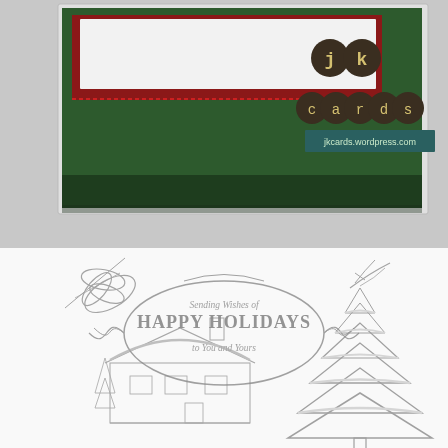[Figure (photo): Top portion: photograph of a handmade holiday card in dark green card stock with red/burgundy layer and white panel insert. JK Cards logo visible on right with circular letter stamps spelling 'jk cards' and website jkcards.wordpress.com on teal background.]
[Figure (illustration): Bottom portion: rubber stamp sheet showing holiday stamps on white background. Includes: decorative holly/foliage stamp (top left), small bird/branch stamp (top right), ornate 'HAPPY HOLIDAYS' sentiment stamp with 'Sending Wishes of' and 'to You and Yours' in oval frame with flourishes (center), snowy cabin/house scene stamp (bottom left), large snow-covered evergreen/pine tree stamp (bottom right).]